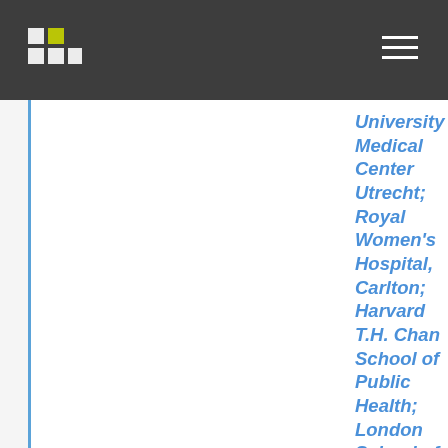University Medical Center Utrecht; Royal Women's Hospital, Carlton; Harvard T.H. Chan School of Public Health; London School of Hygiene &amp; Tropical Medicine; The University of Queensland; McGill Faculty of Medicine and Health Sciences; Hospital Universitari Germans Trias i Pujol; Charité – Universitätsmedizin Berlin; The George Washington University School of